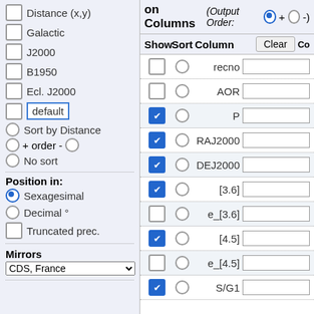Distance (x,y)
Galactic
J2000
B1950
Ecl. J2000
default
Sort by Distance
+ order -
No sort
Position in:
Sexagesimal
Decimal °
Truncated prec.
Mirrors
CDS, France
on Columns (Output Order: + -)
| Show | Sort | Column |  |
| --- | --- | --- | --- |
|  |  | recno |  |
|  |  | AOR |  |
| ✔ |  | P |  |
| ✔ |  | RAJ2000 |  |
| ✔ |  | DEJ2000 |  |
| ✔ |  | [3.6] |  |
|  |  | e_[3.6] |  |
| ✔ |  | [4.5] |  |
|  |  | e_[4.5] |  |
| ✔ |  | S/G1 |  |